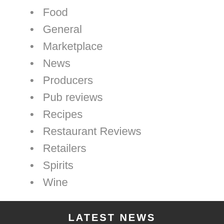Food
General
Marketplace
News
Producers
Pub reviews
Recipes
Restaurant Reviews
Retailers
Spirits
Wine
LATEST NEWS
Cocktails in the City
Yorkshire Food & Drink